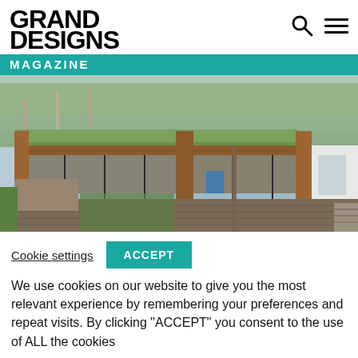GRAND DESIGNS MAGAZINE
[Figure (photo): Exterior photo of a modern flat-roofed house with green roof, wood cladding, large glass sliding doors, and a wooden deck, surrounded by trees]
Cookie settings   ACCEPT
We use cookies on our website to give you the most relevant experience by remembering your preferences and repeat visits. By clicking “ACCEPT” you consent to the use of ALL the cookies